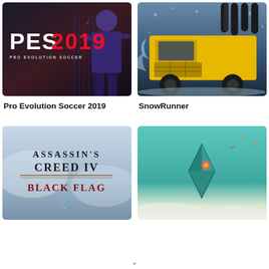[Figure (screenshot): Pro Evolution Soccer 2019 game cover art showing a soccer player in blue and red striped jersey with PES 2019 logo]
[Figure (screenshot): SnowRunner game cover art showing a large yellow truck in snowy/icy conditions]
Pro Evolution Soccer 2019
SnowRunner
[Figure (screenshot): Assassin's Creed IV Black Flag game cover art with the game title logo]
[Figure (screenshot): Alto's Odyssey or similar game cover art with teal/turquoise background and geometric diamond shape]